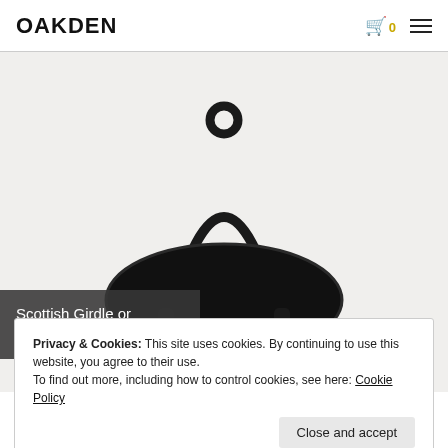OAKDEN
[Figure (photo): A black Scottish Girdle or Griddle cookware pan with an arched handle and a round loop at the top, photographed on a white/light grey background.]
Scottish Girdle or Griddle
Privacy & Cookies: This site uses cookies. By continuing to use this website, you agree to their use.
To find out more, including how to control cookies, see here: Cookie Policy
Close and accept